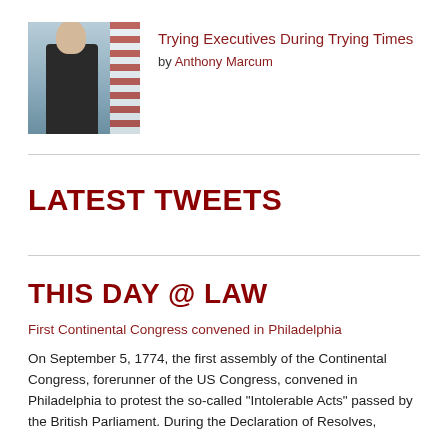[Figure (photo): Photo of a man in a dark suit with an American flag in the background]
Trying Executives During Trying Times
by Anthony Marcum
LATEST TWEETS
THIS DAY @ LAW
First Continental Congress convened in Philadelphia
On September 5, 1774, the first assembly of the Continental Congress, forerunner of the US Congress, convened in Philadelphia to protest the so-called "Intolerable Acts" passed by the British Parliament. During the Declaration of Resolves,